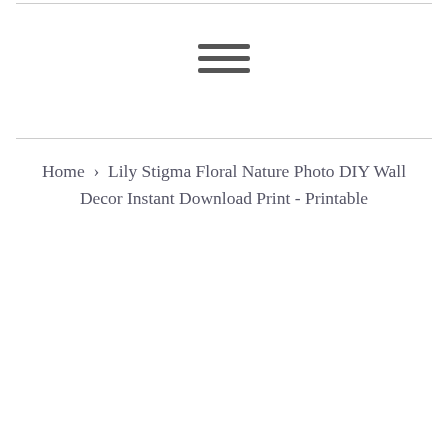≡ (hamburger menu icon)
Home › Lily Stigma Floral Nature Photo DIY Wall Decor Instant Download Print - Printable